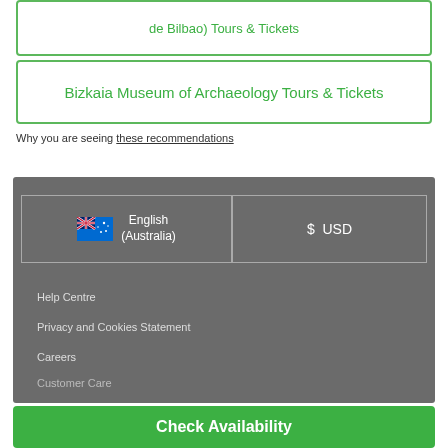de Bilbao) Tours & Tickets
Bizkaia Museum of Archaeology Tours & Tickets
Why you are seeing these recommendations
English (Australia)
$ USD
Help Centre
Privacy and Cookies Statement
Careers
Customer Care
Check Availability